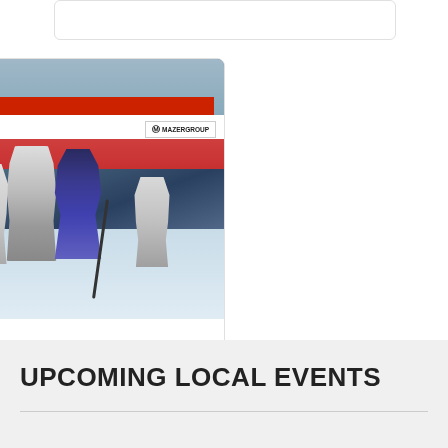[Figure (photo): Hockey game photo with players on ice rink, one player in blue/navy jersey with play button overlay]
The Oil Capitals Report
UPCOMING LOCAL EVENTS